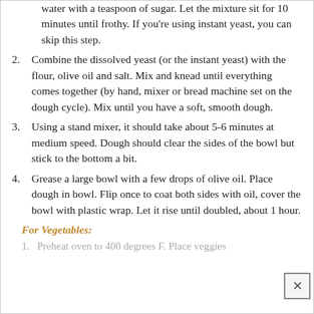water with a teaspoon of sugar. Let the mixture sit for 10 minutes until frothy. If you're using instant yeast, you can skip this step.
2. Combine the dissolved yeast (or the instant yeast) with the flour, olive oil and salt. Mix and knead until everything comes together (by hand, mixer or bread machine set on the dough cycle). Mix until you have a soft, smooth dough.
3. Using a stand mixer, it should take about 5-6 minutes at medium speed. Dough should clear the sides of the bowl but stick to the bottom a bit.
4. Grease a large bowl with a few drops of olive oil. Place dough in bowl. Flip once to coat both sides with oil, cover the bowl with plastic wrap. Let it rise until doubled, about 1 hour.
For Vegetables:
1. Preheat oven to 400 degrees F. Place veggies